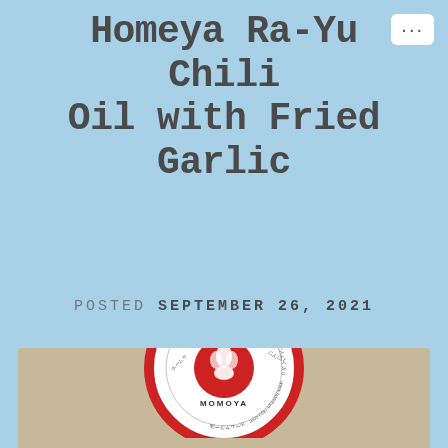Homeya Ra-Yu Chili Oil with Fried Garlic
POSTED SEPTEMBER 26, 2021
[Figure (photo): Top-down photo of a jar lid with red and white Japanese branding, showing a stylized flame/garlic logo and circular text around the edge, on a beige/tan background.]